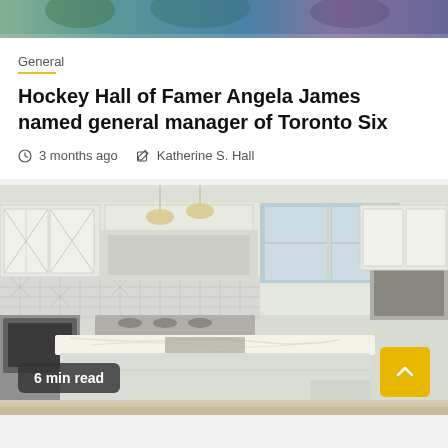[Figure (photo): Top partial photo of a room with teal/green tones, partially visible at top of page]
General
Hockey Hall of Famer Angela James named general manager of Toronto Six
3 months ago   Katherine S. Hall
[Figure (photo): A modern white kitchen with a large island featuring a marble countertop, patterned backsplash, pendant lighting, and stainless steel appliances. Badge reads '6 min read'.]